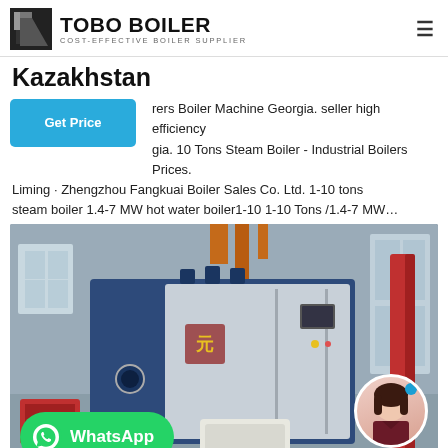TOBO BOILER — COST-EFFECTIVE BOILER SUPPLIER
Kazakhstan
rers Boiler Machine Georgia. seller high efficiency gia. 10 Tons Steam Boiler - Industrial Boilers Prices. Liming · Zhengzhou Fangkuai Boiler Sales Co. Ltd. 1-10 tons steam boiler 1.4-7 MW hot water boiler1-10 1-10 Tons /1.4-7 MW…
[Figure (photo): Industrial boiler unit in blue and silver casing, installed in a factory/plant facility. WhatsApp button overlay at bottom-left. Female avatar overlay at bottom-right.]